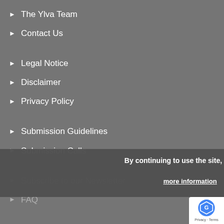The Ylva Team
Contact Us
Legal Notice
Disclaimer
Privacy Policy
Submission Guidelines
Submission Calls
Subscribe to our Newsletter
FAQ
By continuing to use the site, you agree to the use of cookies.
more information
ACCEPT
Privacy · Terms